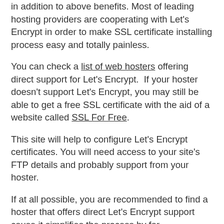in addition to above benefits. Most of leading hosting providers are cooperating with Let's Encrypt in order to make SSL certificate installing process easy and totally painless.
You can check a list of web hosters offering direct support for Let's Encrypt.  If your hoster doesn't support Let's Encrypt, you may still be able to get a free SSL certificate with the aid of a website called SSL For Free.
This site will help to configure Let's Encrypt certificates. You will need access to your site's FTP details and probably support from your hoster.
If at all possible, you are recommended to find a hoster that offers direct Let's Encrypt support cause it simplifies the process by far.